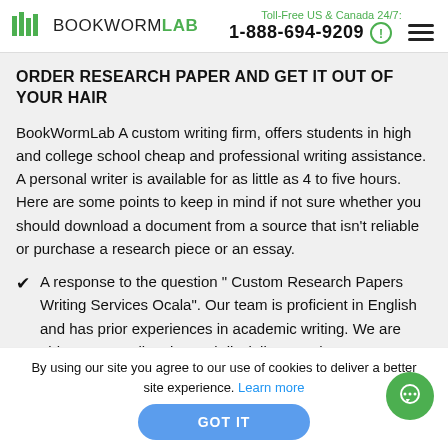BOOKWORMLAB | Toll-Free US & Canada 24/7: 1-888-694-9209
ORDER RESEARCH PAPER AND GET IT OUT OF YOUR HAIR
BookWormLab A custom writing firm, offers students in high and college school cheap and professional writing assistance. A personal writer is available for as little as 4 to five hours. Here are some points to keep in mind if not sure whether you should download a document from a source that isn't reliable or purchase a research piece or an essay.
A response to the question " Custom Research Papers Writing Services Ocala". Our team is proficient in English and has prior experiences in academic writing. We are able to cover all topics and disciplines so that
By using our site you agree to our use of cookies to deliver a better site experience. Learn more